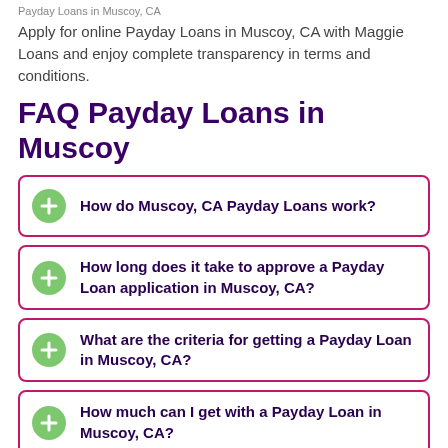Payday Loans in Muscoy, CA
Apply for online Payday Loans in Muscoy, CA with Maggie Loans and enjoy complete transparency in terms and conditions.
FAQ Payday Loans in Muscoy
How do Muscoy, CA Payday Loans work?
How long does it take to approve a Payday Loan application in Muscoy, CA?
What are the criteria for getting a Payday Loan in Muscoy, CA?
How much can I get with a Payday Loan in Muscoy, CA?